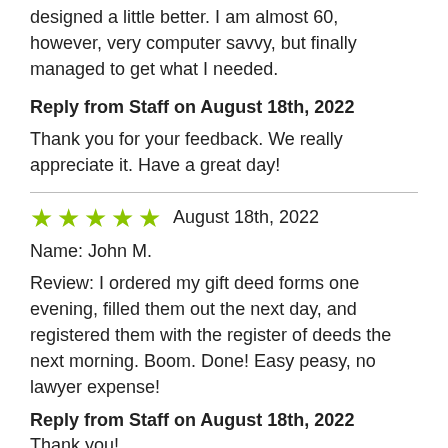designed a little better. I am almost 60, however, very computer savvy, but finally managed to get what I needed.
Reply from Staff on August 18th, 2022
Thank you for your feedback. We really appreciate it. Have a great day!
★★★★★ August 18th, 2022
Name: John M.
Review: I ordered my gift deed forms one evening, filled them out the next day, and registered them with the register of deeds the next morning. Boom. Done! Easy peasy, no lawyer expense!
Reply from Staff on August 18th, 2022
Thank you!